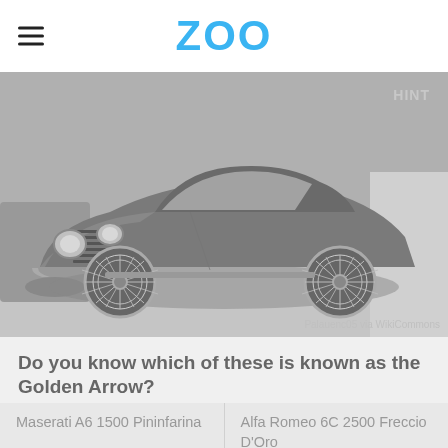ZOO
[Figure (photo): A vintage classic car, likely an Alfa Romeo, photographed in a museum or showroom setting. The car is dark-colored with round headlights, distinctive vertical grille slats, and wire-spoke wheels. The image has a grey/faded tone. A watermark reads 'Palauenc05 via WikiCommons'. Top-right corner has 'HINT' text.]
Do you know which of these is known as the Golden Arrow?
Maserati A6 1500 Pininfarina
Alfa Romeo 6C 2500 Freccio D'Oro